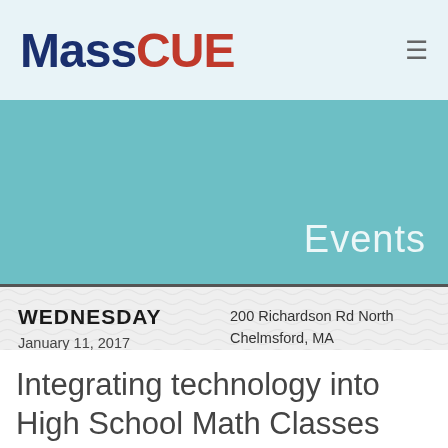MassCUE
Events
WEDNESDAY
January 11, 2017
11:45 AM
200 Richardson Rd North Chelmsford, MA
Get Directions >
Integrating technology into High School Math Classes